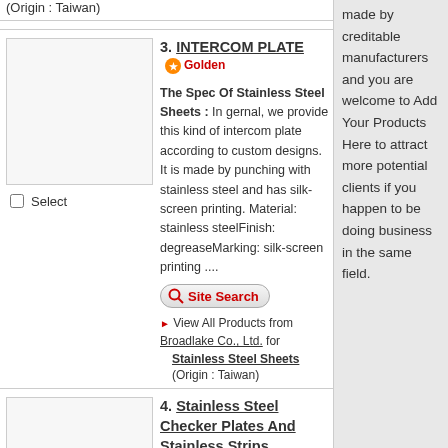(Origin : Taiwan)
made by creditable manufacturers and you are welcome to Add Your Products Here to attract more potential clients if you happen to be doing business in the same field.
3. INTERCOM PLATE Golden
The Spec Of Stainless Steel Sheets : In gernal, we provide this kind of intercom plate according to custom designs. It is made by punching with stainless steel and has silk-screen printing. Material: stainless steelFinish: degreaseMarking: silk-screen printing ....
View All Products from Broadlake Co., Ltd. for Stainless Steel Sheets
(Origin : Taiwan)
4. Stainless Steel Checker Plates And Stainless Strips Golden e-Catalog
The Spec Of Stainless Steel Sheets : Our products have been highly recommended, and are widely applied in different industries, such as petro-chemical, auto & motorcycle, furniture, decoration, mechanical, construction purpose